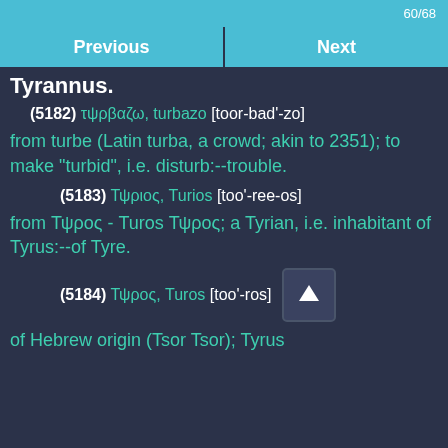60/68
Previous   Next
Tyrannus.
(5182) τψρβαζω, turbazo [toor-bad'-zo]
from turbe (Latin turba, a crowd; akin to 2351); to make "turbid", i.e. disturb:--trouble.
(5183) Τψριος, Turios [too'-ree-os]
from Τψρος - Turos Τψρος; a Tyrian, i.e. inhabitant of Tyrus:--of Tyre.
(5184) Τψρος, Turos [too'-ros]
of Hebrew origin (Tsor Tsor); Tyrus